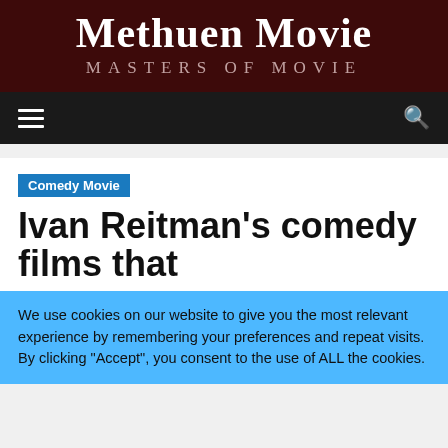Methuen Movie
MASTERS OF MOVIE
[Figure (other): Navigation bar with hamburger menu icon on left and search icon on right, dark background]
Comedy Movie
Ivan Reitman's comedy films that
We use cookies on our website to give you the most relevant experience by remembering your preferences and repeat visits. By clicking "Accept", you consent to the use of ALL the cookies.